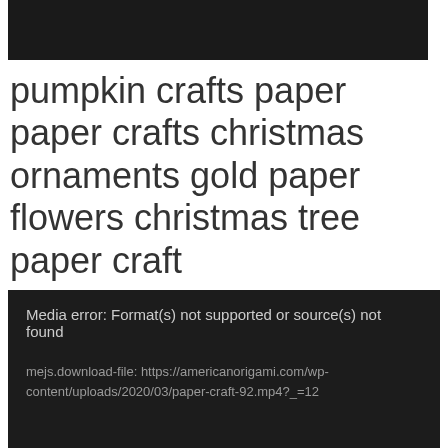[Figure (other): Black rectangle area at the top, representing a video player placeholder]
pumpkin crafts paper paper crafts christmas ornaments gold paper flowers christmas tree paper craft
Media error: Format(s) not supported or source(s) not found

mejs.download-file: https://americanorigami.com/wp-content/uploads/2020/03/paper-craft-92.mp4?_=12